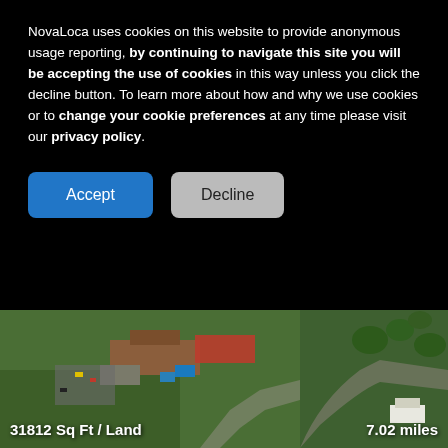NovaLoca uses cookies on this website to provide anonymous usage reporting, by continuing to navigate this site you will be accepting the use of cookies in this way unless you click the decline button. To learn more about how and why we use cookies or to change your cookie preferences at any time please visit our privacy policy.
[Figure (photo): Aerial view of an industrial/commercial property site with buildings, parking areas, and surrounding green land]
31812 Sq Ft / Land
7.02 miles
Beacon Road, Stone, ST15 0NN
FOR SALE